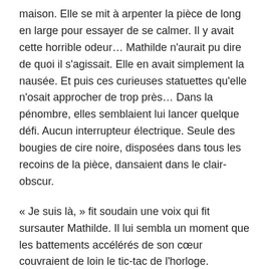maison. Elle se mit à arpenter la pièce de long en large pour essayer de se calmer. Il y avait cette horrible odeur… Mathilde n'aurait pu dire de quoi il s'agissait. Elle en avait simplement la nausée. Et puis ces curieuses statuettes qu'elle n'osait approcher de trop près… Dans la pénombre, elles semblaient lui lancer quelque défi. Aucun interrupteur électrique. Seule des bougies de cire noire, disposées dans tous les recoins de la pièce, dansaient dans le clair-obscur.
« Je suis là, » fit soudain une voix qui fit sursauter Mathilde. Il lui sembla un moment que les battements accélérés de son cœur couvraient de loin le tic-tac de l'horloge.
Elle ne l'avait pas entendu arriver et Maître Octave, décidément, était loin de lui plaire. Le visage oblong, les